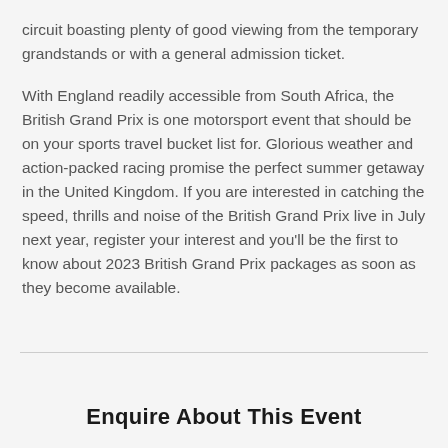circuit boasting plenty of good viewing from the temporary grandstands or with a general admission ticket.
With England readily accessible from South Africa, the British Grand Prix is one motorsport event that should be on your sports travel bucket list for. Glorious weather and action-packed racing promise the perfect summer getaway in the United Kingdom. If you are interested in catching the speed, thrills and noise of the British Grand Prix live in July next year, register your interest and you'll be the first to know about 2023 British Grand Prix packages as soon as they become available.
Enquire About This Event